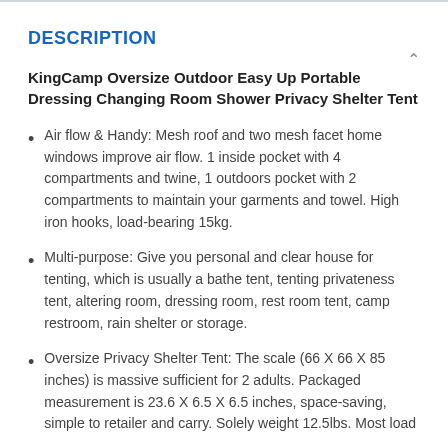DESCRIPTION
KingCamp Oversize Outdoor Easy Up Portable Dressing Changing Room Shower Privacy Shelter Tent
Air flow & Handy: Mesh roof and two mesh facet home windows improve air flow. 1 inside pocket with 4 compartments and twine, 1 outdoors pocket with 2 compartments to maintain your garments and towel. High iron hooks, load-bearing 15kg.
Multi-purpose: Give you personal and clear house for tenting, which is usually a bathe tent, tenting privateness tent, altering room, dressing room, rest room tent, camp restroom, rain shelter or storage.
Oversize Privacy Shelter Tent: The scale (66 X 66 X 85 inches) is massive sufficient for 2 adults. Packaged measurement is 23.6 X 6.5 X 6.5 inches, space-saving, simple to retailer and carry. Solely weight 12.5lbs. Most load